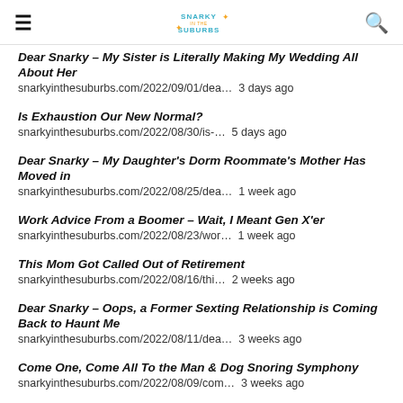Snarky in the Suburbs
Dear Snarky – My Sister is Literally Making My Wedding All About Her snarkyinthesuburbs.com/2022/09/01/dea… 3 days ago
Is Exhaustion Our New Normal? snarkyinthesuburbs.com/2022/08/30/is-… 5 days ago
Dear Snarky – My Daughter's Dorm Roommate's Mother Has Moved in snarkyinthesuburbs.com/2022/08/25/dea… 1 week ago
Work Advice From a Boomer – Wait, I Meant Gen X'er snarkyinthesuburbs.com/2022/08/23/wor… 1 week ago
This Mom Got Called Out of Retirement snarkyinthesuburbs.com/2022/08/16/thi… 2 weeks ago
Dear Snarky – Oops, a Former Sexting Relationship is Coming Back to Haunt Me snarkyinthesuburbs.com/2022/08/11/dea… 3 weeks ago
Come One, Come All To the Man & Dog Snoring Symphony snarkyinthesuburbs.com/2022/08/09/com… 3 weeks ago
Follow @snarkynsuburbs